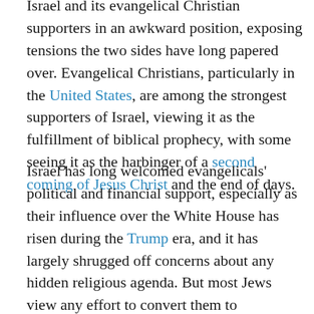Israel and its evangelical Christian supporters in an awkward position, exposing tensions the two sides have long papered over. Evangelical Christians, particularly in the United States, are among the strongest supporters of Israel, viewing it as the fulfillment of biblical prophecy, with some seeing it as the harbinger of a second coming of Jesus Christ and the end of days.
Israel has long welcomed evangelicals' political and financial support, especially as their influence over the White House has risen during the Trump era, and it has largely shrugged off concerns about any hidden religious agenda. But most Jews view any effort to convert them to Christianity as deeply offensive, a legacy of centuries of persecution and forced conversion at the hands of Christian rulers. In part because of those sensitivities, evangelical Christians, who generally believe salvation